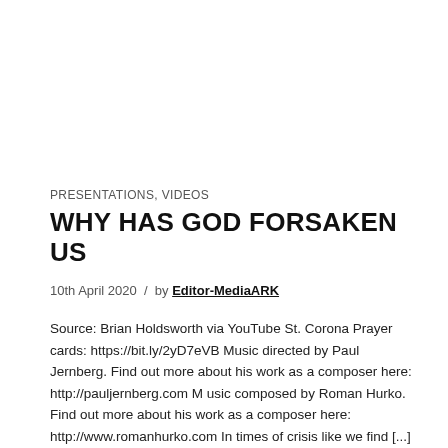PRESENTATIONS, VIDEOS
WHY HAS GOD FORSAKEN US
10th April 2020  /  by Editor-MediaARK
Source: Brian Holdsworth via YouTube St. Corona Prayer cards: https://bit.ly/2yD7eVB Music directed by Paul Jernberg. Find out more about his work as a composer here: http://pauljernberg.com M usic composed by Roman Hurko. Find out more about his work as a composer here: http://www.romanhurko.com In times of crisis like we find [...]